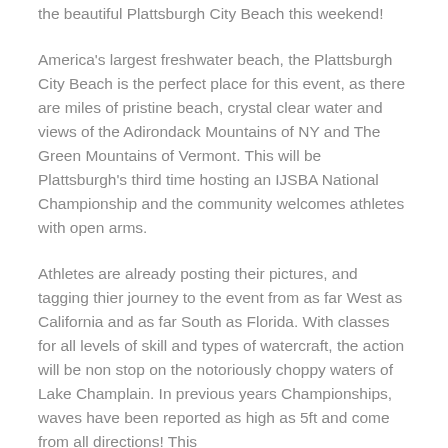the beautiful Plattsburgh City Beach this weekend!
America's largest freshwater beach, the Plattsburgh City Beach is the perfect place for this event, as there are miles of pristine beach, crystal clear water and views of the Adirondack Mountains of NY and The Green Mountains of Vermont. This will be Plattsburgh's third time hosting an IJSBA National Championship and the community welcomes athletes with open arms.
Athletes are already posting their pictures, and tagging thier journey to the event from as far West as California and as far South as Florida. With classes for all levels of skill and types of watercraft, the action will be non stop on the notoriously choppy waters of Lake Champlain. In previous years Championships, waves have been reported as high as 5ft and come from all directions! This features and upcoming challenge for the full lineup of